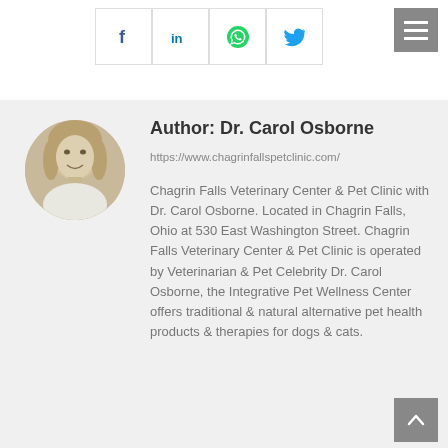[Figure (other): Social sharing buttons: Facebook (dark blue f), LinkedIn (blue in), WhatsApp (green phone), Twitter (blue bird icon), and a hamburger menu button (grey with three white lines) in top-right corner.]
[Figure (photo): Circular black-and-white/sepia portrait photo of Dr. Carol Osborne, a woman with blonde hair smiling.]
Author: Dr. Carol Osborne
https://www.chagrinfallspetclinic.com/
Chagrin Falls Veterinary Center & Pet Clinic with Dr. Carol Osborne. Located in Chagrin Falls, Ohio at 530 East Washington Street. Chagrin Falls Veterinary Center & Pet Clinic is operated by Veterinarian & Pet Celebrity Dr. Carol Osborne, the Integrative Pet Wellness Center offers traditional & natural alternative pet health products & therapies for dogs & cats.
[Figure (other): Back to top button — grey square with white upward arrow.]